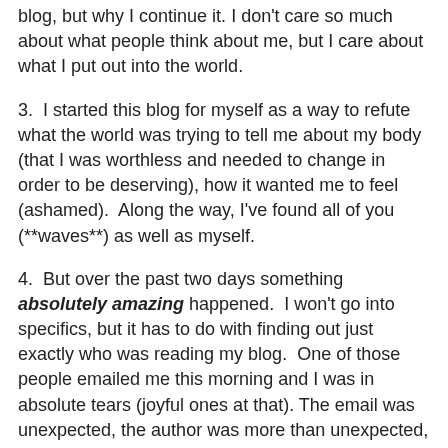blog, but why I continue it.  I don't care so much about what people think about me, but I care about what I put out into the world.
3.  I started this blog for myself as a way to refute what the world was trying to tell me about my body (that I was worthless and needed to change in order to be deserving), how it wanted me to feel (ashamed).  Along the way, I've found all of you (**waves**) as well as myself.
4.  But over the past two days something absolutely amazing happened.  I won't go into specifics, but it has to do with finding out just exactly who was reading my blog.  One of those people emailed me this morning and I was in absolute tears (joyful ones at that). The email was unexpected, the author was more than unexpected, and the words were sincerely beautiful.  With all my heart I couldn't have predicted this email, but I am grateful for it.  It seemed like a lifetime in the making.
5.  We all say this is for ourselves, but I think everyone wants to connect in some way or another with another person.  We want the validation of our experience, all b…